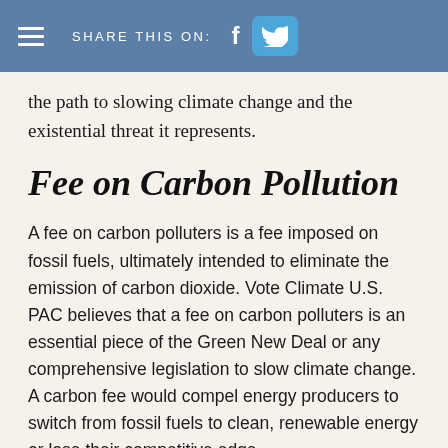≡  SHARE THIS ON:  f  [Twitter]
the path to slowing climate change and the existential threat it represents.
Fee on Carbon Pollution
A fee on carbon polluters is a fee imposed on fossil fuels, ultimately intended to eliminate the emission of carbon dioxide. Vote Climate U.S. PAC believes that a fee on carbon polluters is an essential piece of the Green New Deal or any comprehensive legislation to slow climate change. A carbon fee would compel energy producers to switch from fossil fuels to clean, renewable energy or lose their competitive edge.
Polluters, like fossil fuel companies who pump